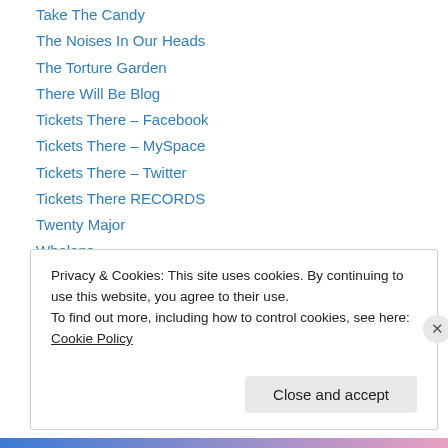Take The Candy
The Noises In Our Heads
The Torture Garden
There Will Be Blog
Tickets There – Facebook
Tickets There – MySpace
Tickets There – Twitter
Tickets There RECORDS
Twenty Major
Whelans
WordPress.com
WordPress.org
\'Ticket\'s There\' – Irish and International Music Web Blog
Privacy & Cookies: This site uses cookies. By continuing to use this website, you agree to their use. To find out more, including how to control cookies, see here: Cookie Policy
Close and accept